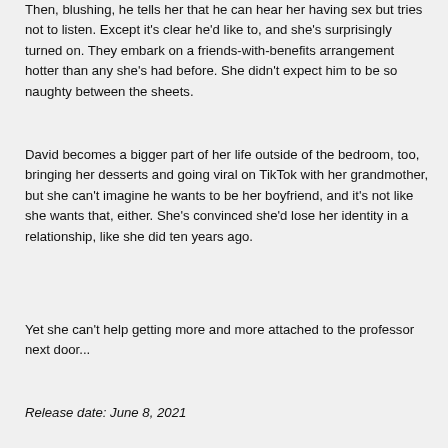Then, blushing, he tells her that he can hear her having sex but tries not to listen. Except it's clear he'd like to, and she's surprisingly turned on. They embark on a friends-with-benefits arrangement hotter than any she's had before. She didn't expect him to be so naughty between the sheets.
David becomes a bigger part of her life outside of the bedroom, too, bringing her desserts and going viral on TikTok with her grandmother, but she can't imagine he wants to be her boyfriend, and it's not like she wants that, either. She's convinced she'd lose her identity in a relationship, like she did ten years ago.
Yet she can't help getting more and more attached to the professor next door...
Release date: June 8, 2021